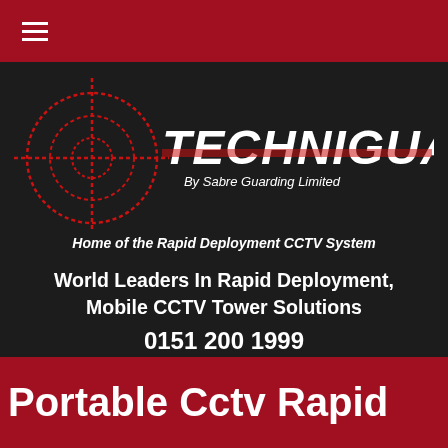[Figure (logo): Techniguard logo with crosshair/target graphic in red on dark background, text TECHNIGUARD in white stylized font, subtitle 'By Sabre Guarding Limited', tagline 'Home of the Rapid Deployment CCTV System']
World Leaders In Rapid Deployment, Mobile CCTV Tower Solutions
0151 200 1999
Portable Cctv Rapid